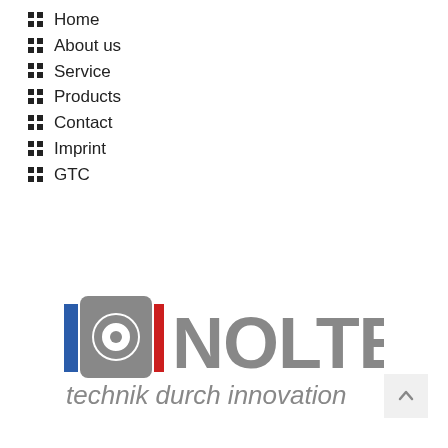Home
About us
Service
Products
Contact
Imprint
GTC
[Figure (logo): Nolte logo with gear/circle icon in blue and red, text 'NOLTE' in gray, tagline 'technik durch innovation' in italic gray]